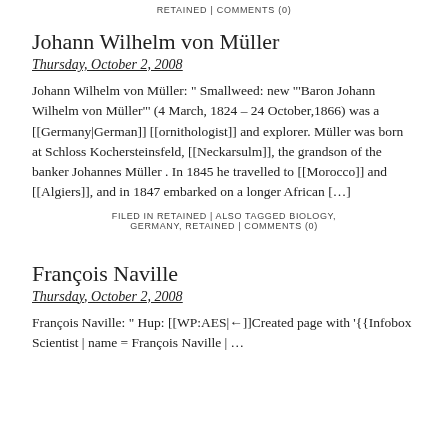RETAINED | COMMENTS (0)
Johann Wilhelm von Müller
Thursday, October 2, 2008
Johann Wilhelm von Müller: " Smallweed: new "'Baron Johann Wilhelm von Müller"' (4 March, 1824 – 24 October,1866) was a [[Germany|German]] [[ornithologist]] and explorer. Müller was born at Schloss Kochersteinsfeld, [[Neckarsulm]], the grandson of the banker Johannes Müller . In 1845 he travelled to [[Morocco]] and [[Algiers]], and in 1847 embarked on a longer African […]
FILED IN RETAINED | ALSO TAGGED BIOLOGY, GERMANY, RETAINED | COMMENTS (0)
François Naville
Thursday, October 2, 2008
François Naville: " Hup: [[WP:AES|←]]Created page with '{{Infobox Scientist | name = François Naville | ...